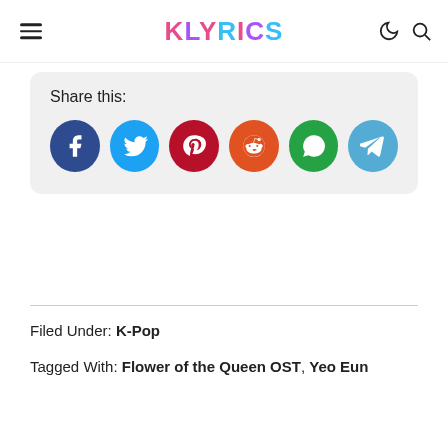KLYRICS
Share this:
[Figure (infographic): Row of social share buttons: Facebook (dark blue), Twitter (light blue), Pinterest (dark red), Reddit (orange), WhatsApp (green), Telegram (light blue)]
Filed Under: K-Pop
Tagged With: Flower of the Queen OST, Yeo Eun